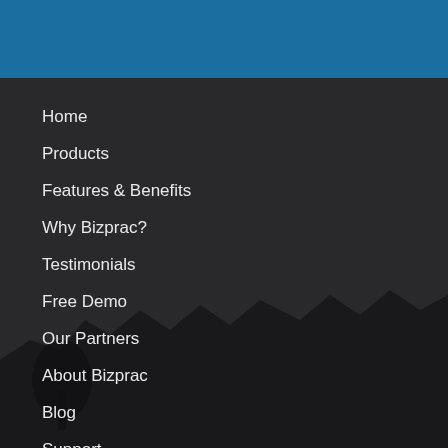[Figure (photo): Blue header bar at top, dark semi-transparent overlay over a rocky landscape background]
Home
Products
Features & Benefits
Why Bizprac?
Testimonials
Free Demo
Our Partners
About Bizprac
Blog
Support